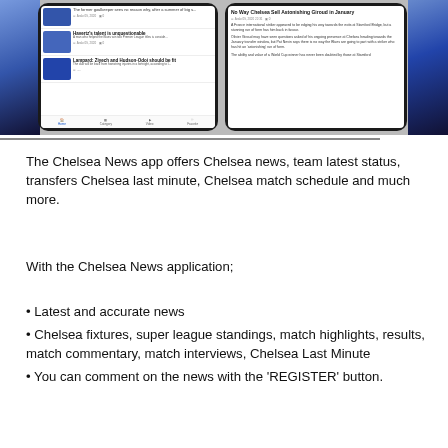[Figure (screenshot): Mobile app screenshots showing Chelsea News app with news articles including 'Havertz's talent is unquestionable' and 'Lampard: Ziyech and Hudson-Odoi should be fit', alongside an article detail view about Olivier Giroud]
The Chelsea News app offers Chelsea news, team latest status, transfers Chelsea last minute, Chelsea match schedule and much more.
With the Chelsea News application;
• Latest and accurate news
• Chelsea fixtures, super league standings, match highlights, results, match commentary, match interviews, Chelsea Last Minute
• You can comment on the news with the 'REGISTER' button.